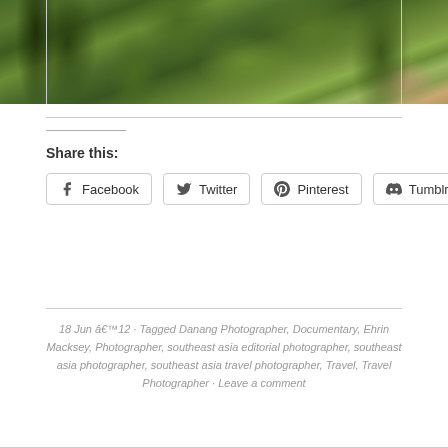[Figure (photo): Photograph of dense green tropical vegetation and foliage, partially visible at top of page]
Share this:
Facebook  Twitter  Pinterest  Tumblr
18 Jun â€™12 · Tagged Danang Photographer, Documentary, Ehrin Macksey, Photographer, southeast asia editorial photographer, southeast asia photographer, southeast asia travel photographer, Travel, Travel Photographer · Leave a comment